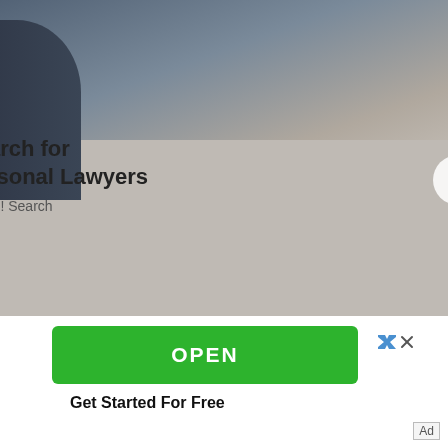[Figure (photo): Ad banner showing people shaking hands at a desk, with text 'Search for Personal Lawyers' and 'Yahoo! Search' below, plus a right-arrow circle button]
DESTINY MITCHUM says:
at 1:16 am
SARASWATI. PROPHETIC GODDESS OF KNOWLEDGE.
That is funny. I am a Gemini/VIRGO DOMINANT and came on here to search my soul name for an
[Figure (screenshot): Green OPEN button advertisement with close button (X), and 'Get Started For Free' text below]
Ad